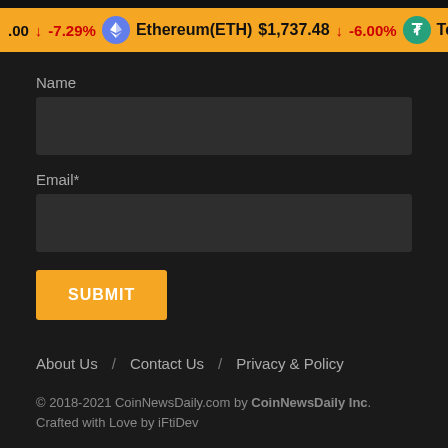.00 ↓ -7.29% Ethereum(ETH) $1,737.48 ↓ -6.00% Tether
Name
Email*
SUBMIT
About Us / Contact Us / Privacy & Policy
© 2018-2021 CoinNewsDaily.com by CoinNewsDaily Inc. Crafted with Love by iFtiDev